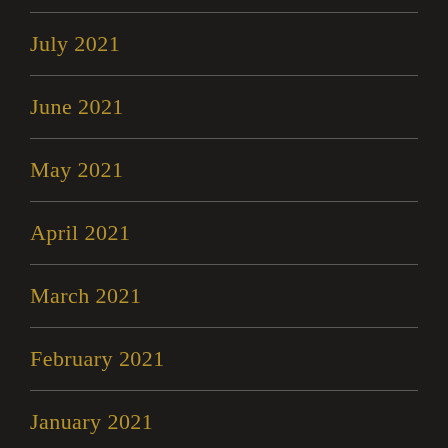July 2021
June 2021
May 2021
April 2021
March 2021
February 2021
January 2021
December 2020